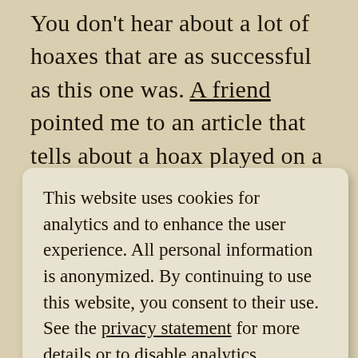You don't hear about a lot of hoaxes that are as successful as this one was. A friend pointed me to an article that tells about a hoax played on a large number of 19th century rare book collectors. I've posted
This website uses cookies for analytics and to enhance the user experience. All personal information is anonymized. By continuing to use this website, you consent to their use. See the privacy statement for more details or to disable analytics.
the world, he would immediately dispose of